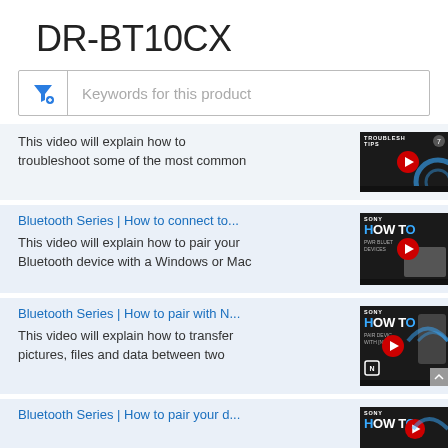DR-BT10CX
Keywords for this product
This video will explain how to troubleshoot some of the most common
Bluetooth Series | How to connect to...
This video will explain how to pair your Bluetooth device with a Windows or Mac
Bluetooth Series | How to pair with N...
This video will explain how to transfer pictures, files and data between two
Bluetooth Series | How to pair your d...